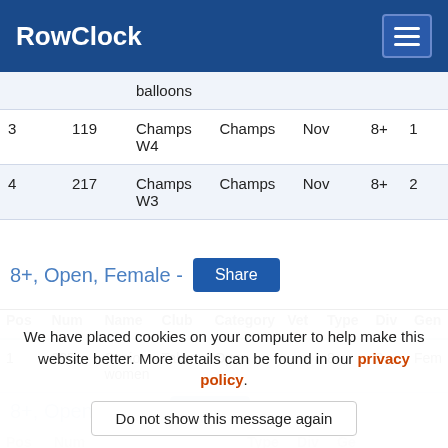RowClock
| Pos | Num | Name | Club | Category | Vet | Type | Div | Gen |
| --- | --- | --- | --- | --- | --- | --- | --- | --- |
|  |  | balloons |  |  |  |  |  |  |
| 3 | 119 | Champs W4 | Champs | Nov |  | 8+ | 1 |  |
| 4 | 217 | Champs W3 | Champs | Nov |  | 8+ | 2 |  |
8+, Open, Female -
| Pos | Num | Name | Club | Category | Vet | Type | Div | Gen |
| --- | --- | --- | --- | --- | --- | --- | --- | --- |
| 1 | 205 | Senior women | Tabs | Open |  | 8+ | 2 | Fem |
8+, Open, Male -
| Pos | Num | Name | Club | Category | Vet | Type | Div | Ge |
| --- | --- | --- | --- | --- | --- | --- | --- | --- |
We have placed cookies on your computer to help make this website better. More details can be found in our privacy policy.